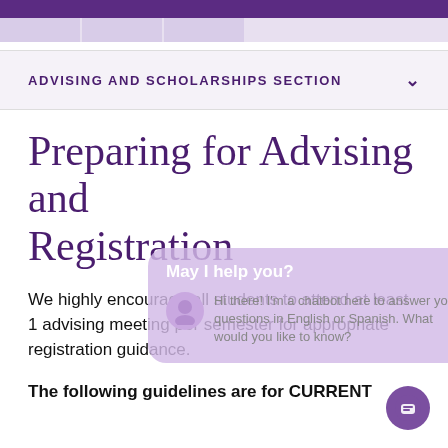ADVISING AND SCHOLARSHIPS SECTION
Preparing for Advising and Registration
We highly encourage all students to attend at least 1 advising meeting per semester for appropriate registration guidance.
The following guidelines are for CURRENT